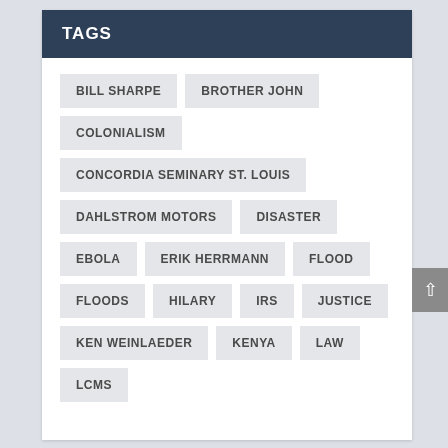TAGS
BILL SHARPE
BROTHER JOHN
COLONIALISM
CONCORDIA SEMINARY ST. LOUIS
DAHLSTROM MOTORS
DISASTER
EBOLA
ERIK HERRMANN
FLOOD
FLOODS
HILARY
IRS
JUSTICE
KEN WEINLAEDER
KENYA
LAW
LCMS